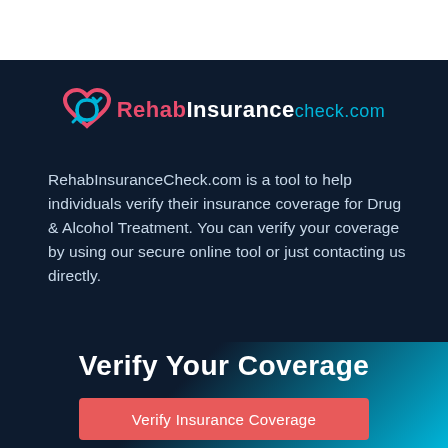[Figure (logo): RehabInsuranceCheck.com logo with heart icon in red/blue and text]
RehabInsuranceCheck.com is a tool to help individuals verify their insurance coverage for Drug & Alcohol Treatment. You can verify your coverage by using our secure online tool or just contacting us directly.
Verify Your Coverage
Verify Insurance Coverage